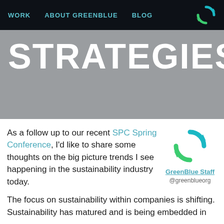WORK   ABOUT GREENBLUE   BLOG
STRATEGIES
As a follow up to our recent SPC Spring Conference, I'd like to share some thoughts on the big picture trends I see happening in the sustainability industry today.
[Figure (logo): GreenBlue circular arrow logo in teal and green]
GreenBlue Staff
@greenblueorg
The focus on sustainability within companies is shifting. Sustainability has matured and is being embedded in